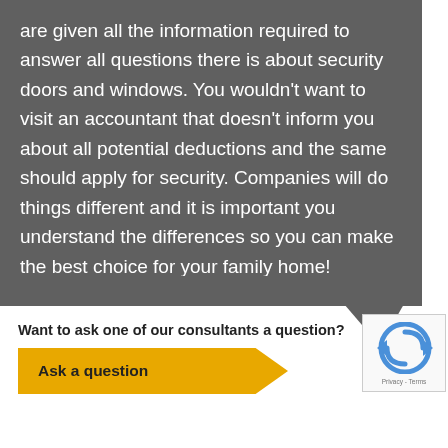are given all the information required to answer all questions there is about security doors and windows. You wouldn't want to visit an accountant that doesn't inform you about all potential deductions and the same should apply for security. Companies will do things different and it is important you understand the differences so you can make the best choice for your family home!
[Figure (illustration): Speech bubble tail pointing downward-right]
Want to ask one of our consultants a question?
Ask a question
[Figure (other): reCAPTCHA widget with logo, Privacy and Terms links]